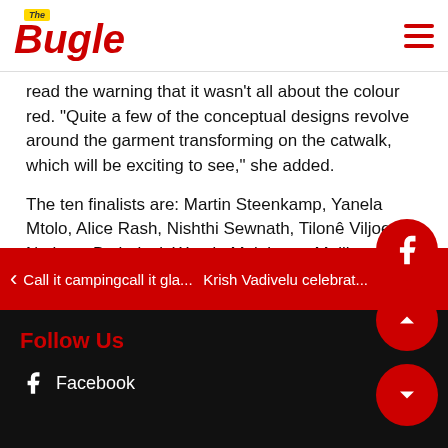The Bugle
read the warning that it wasn't all about the colour red. "Quite a few of the conceptual designs revolve around the garment transforming on the catwalk, which will be exciting to see," she added.
The ten finalists are: Martin Steenkamp, Yanela Mtolo, Alice Rash, Nishthi Sewnath, Tilonê Viljoen, Ntokozo Buthelezi, Wanda Majubana, Mellissa Scandarra (all Durban), Georgia Rhoda (Nelspruit), Teresa Joubert (Stellenbosch). The 2017 Vodacom Durban July takes place at Greyville Racecourse on Saturday 1 July.
More information can be found at https://www.vodacomdurbanjuly.co.za
Call it campingcall it gla... | Krish Vadivelu celebrat...
Follow Us
Facebook